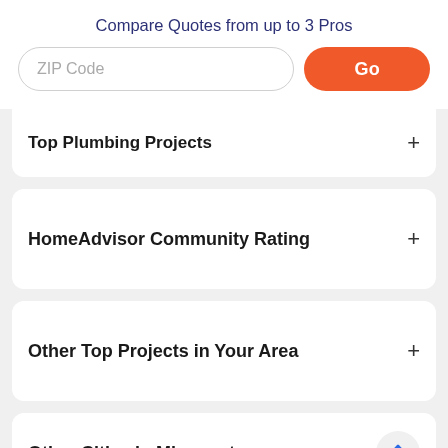Compare Quotes from up to 3 Pros
ZIP Code
Go
Top Plumbing Projects
HomeAdvisor Community Rating
Other Top Projects in Your Area
Other Cities in Minnesota